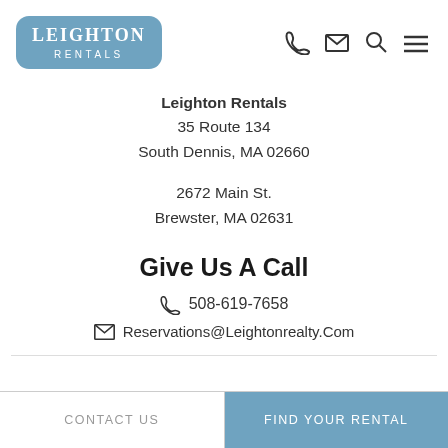[Figure (logo): Leighton Rentals logo with blue rounded rectangle background, white text]
Leighton Rentals
35 Route 134
South Dennis, MA 02660
2672 Main St.
Brewster, MA 02631
Give Us A Call
508-619-7658
Reservations@Leightonrealty.Com